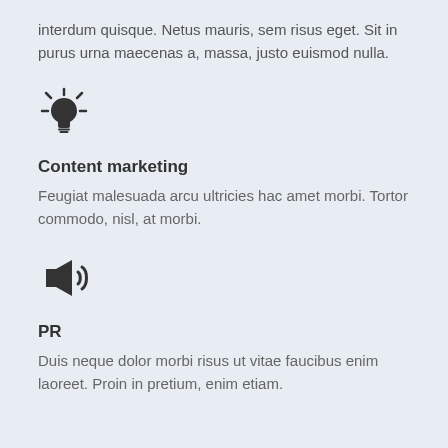interdum quisque. Netus mauris, sem risus eget. Sit in purus urna maecenas a, massa, justo euismod nulla.
[Figure (illustration): Lightbulb icon with rays, dark colored]
Content marketing
Feugiat malesuada arcu ultricies hac amet morbi. Tortor commodo, nisl, at morbi.
[Figure (illustration): Speaker/megaphone with sound waves icon, dark colored]
PR
Duis neque dolor morbi risus ut vitae faucibus enim laoreet. Proin in pretium, enim etiam.